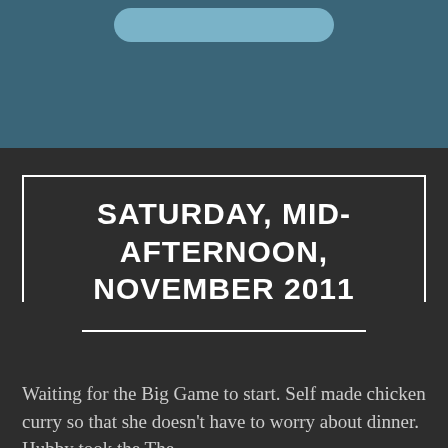[Figure (other): Top decorative section with teal/steel blue background and a rounded light blue bar at the top]
SATURDAY, MID-AFTERNOON, NOVEMBER 2011
Waiting for the Big Game to start. Self made chicken curry so that she doesn't have to worry about dinner. Hubby took the The